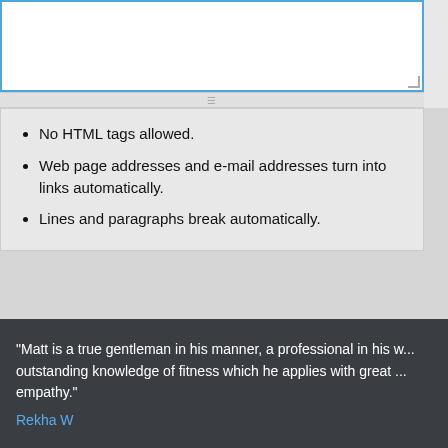[Figure (screenshot): Text input textarea with blue border, resize handle at bottom right, and a horizontal drag bar below it]
No HTML tags allowed.
Web page addresses and e-mail addresses turn into links automatically.
Lines and paragraphs break automatically.
Save | Preview (buttons)
"Matt is a true gentleman in his manner, a professional in his w... outstanding knowledge of fitness which he applies with great ... empathy."
Rekha W